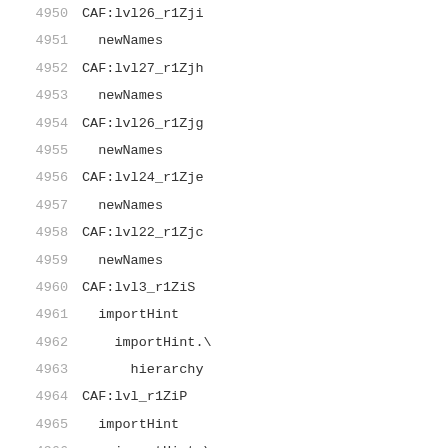4950  CAF:lvl26_r1Zji
4951    newNames
4952  CAF:lvl27_r1Zjh
4953    newNames
4954  CAF:lvl26_r1Zjg
4955    newNames
4956  CAF:lvl24_r1Zje
4957    newNames
4958  CAF:lvl22_r1Zjc
4959    newNames
4960  CAF:lvl3_r1ZiS
4961    importHint
4962      importHint.\
4963        hierarchy
4964  CAF:lvl_r1ZiP
4965    importHint
4966      importHint.\
4967        combine1
4968        dropAnn
4969  CAF:lvl448_r1Plv
4970    used
4971      hasS
4972  CAF:lvl447_r1Plu